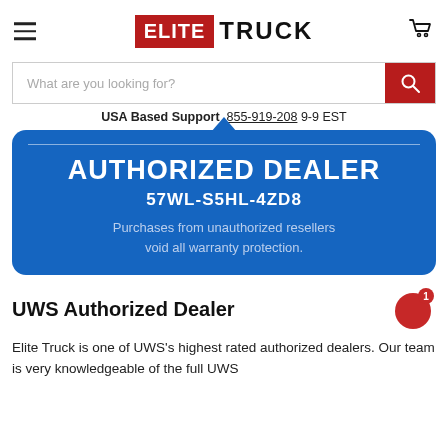ELITE TRUCK — navigation header with logo, hamburger menu, cart icon
[Figure (screenshot): Search bar with placeholder text 'What are you looking for?' and red search button]
USA Based Support  855-919-208  9-9 EST
[Figure (infographic): Authorized Dealer badge on blue background: AUTHORIZED DEALER, 57WL-S5HL-4ZD8, Purchases from unauthorized resellers void all warranty protection.]
UWS Authorized Dealer
Elite Truck is one of UWS's highest rated authorized dealers. Our team is very knowledgeable of the full UWS